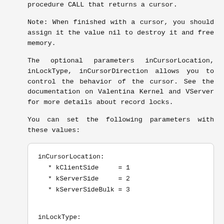procedure CALL that returns a cursor.
Note: When finished with a cursor, you should assign it the value nil to destroy it and free memory.
The optional parameters inCursorLocation, inLockType, inCursorDirection allows you to control the behavior of the cursor. See the documentation on Valentina Kernel and VServer for more details about record locks.
You can set the following parameters with these values:
[Figure (other): Code block showing inCursorLocation values (kClientSide=1, kServerSide=2, kServerSideBulk=3), inLockType values (kNoLocks=1, kReadOnly=2, kReadWrite=3), and inCursorDirection label]